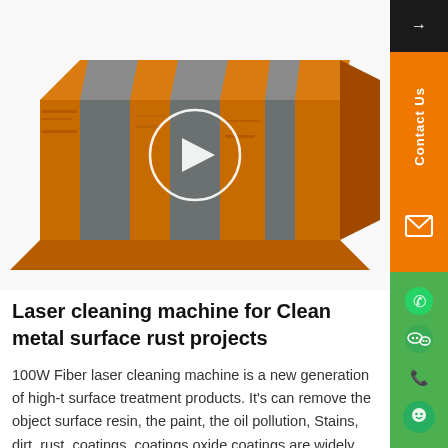[Figure (photo): A rusted metal block with alternating rust-orange and gray cleaned stripes, shown as a video thumbnail with a white circle play button overlay]
Laser cleaning machine for Clean metal surface rust projects
100W Fiber laser cleaning machine is a new generation of high-t surface treatment products. It's can remove the object surface resin, the paint, the oil pollution, Stains, dirt, rust, coatings, coatings oxide coatings are widely used in the industry.